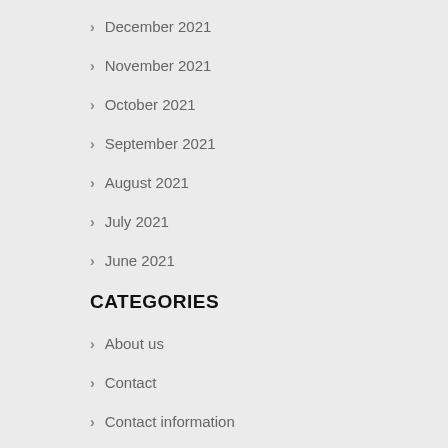December 2021
November 2021
October 2021
September 2021
August 2021
July 2021
June 2021
CATEGORIES
About us
Contact
Contact information
Elean GT500
T1 super sports car